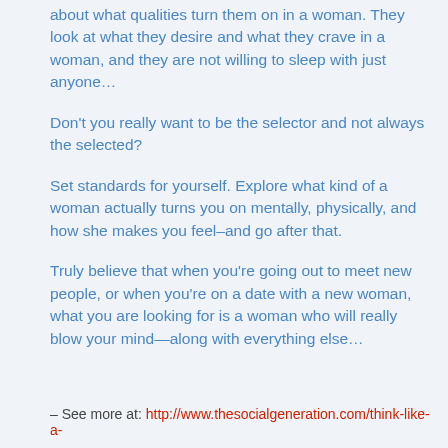about what qualities turn them on in a woman. They look at what they desire and what they crave in a woman, and they are not willing to sleep with just anyone…
Don't you really want to be the selector and not always the selected?
Set standards for yourself. Explore what kind of a woman actually turns you on mentally, physically, and how she makes you feel–and go after that.
Truly believe that when you're going out to meet new people, or when you're on a date with a new woman, what you are looking for is a woman who will really blow your mind—along with everything else…
– See more at: http://www.thesocialgeneration.com/think-like-a-